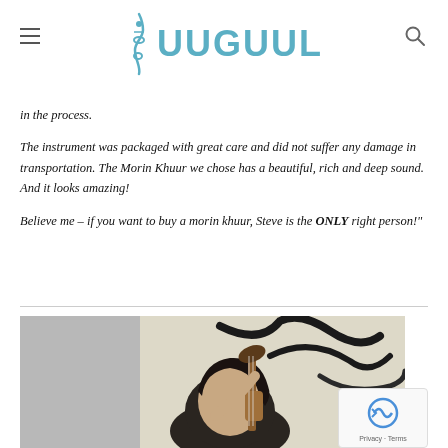UUGUUL
in the process.

The instrument was packaged with great care and did not suffer any damage in transportation. The Morin Khuur we chose has a beautiful, rich and deep sound. And it looks amazing!

Believe me – if you want to buy a morin khuur, Steve is the ONLY right person!"
[Figure (photo): Person with dark hair holding a morin khuur (horsehead fiddle) instrument, with decorative background featuring black brushstroke artwork]